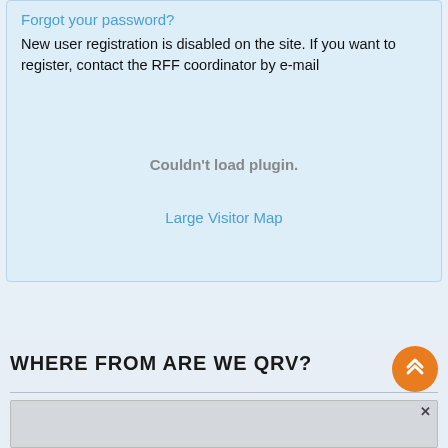Forgot your password?
New user registration is disabled on the site. If you want to register, contact the RFF coordinator by e-mail
Couldn't load plugin.
Large Visitor Map
WHERE FROM ARE WE QRV?
[Figure (screenshot): Partial map preview at the bottom of the page with a close button]